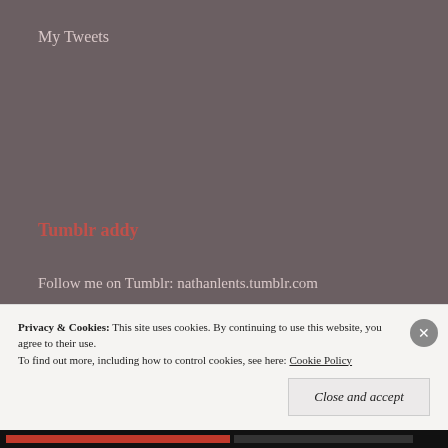My Tweets
Tumblr addy
Follow me on Tumblr: nathanlents.tumblr.com
Cannot load blog information at this time.
Privacy & Cookies: This site uses cookies. By continuing to use this website, you agree to their use.
To find out more, including how to control cookies, see here: Cookie Policy
Close and accept